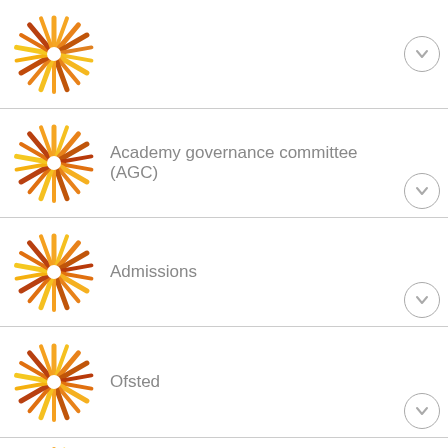[Figure (logo): Sunburst/pinwheel logo in orange and yellow tones - first item (partial, top of page)]
Academy governance committee (AGC)
Admissions
Ofsted
Our Staff